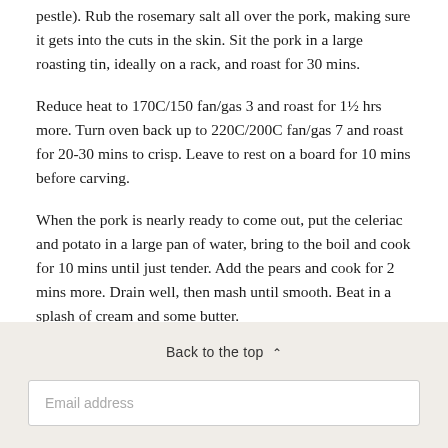pestle). Rub the rosemary salt all over the pork, making sure it gets into the cuts in the skin. Sit the pork in a large roasting tin, ideally on a rack, and roast for 30 mins.
Reduce heat to 170C/150 fan/gas 3 and roast for 1½ hrs more. Turn oven back up to 220C/200C fan/gas 7 and roast for 20-30 mins to crisp. Leave to rest on a board for 10 mins before carving.
When the pork is nearly ready to come out, put the celeriac and potato in a large pan of water, bring to the boil and cook for 10 mins until just tender. Add the pears and cook for 2 mins more. Drain well, then mash until smooth. Beat in a splash of cream and some butter.
Back to the top ^